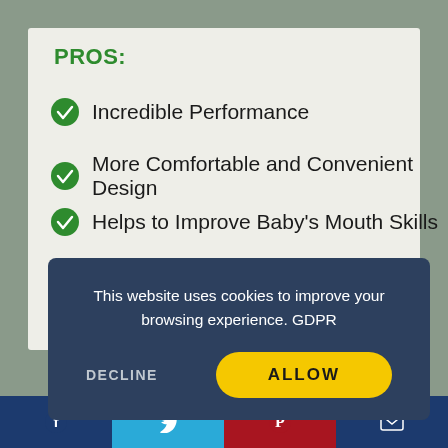PROS:
Incredible Performance
More Comfortable and Convenient Design
Helps to Improve Baby's Mouth Skills
[Figure (screenshot): Cookie consent dialog overlay with dark blue background. Text reads 'This website uses cookies to improve your browsing experience. GDPR'. Two buttons: DECLINE (text only) and ALLOW (yellow rounded button).]
BUYER GUIDE:
As you see, there are many options to choose from the market, so it is almost obligatory to know which